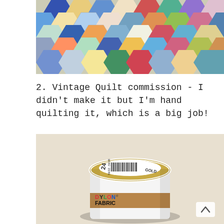[Figure (photo): Top portion of a vintage patchwork quilt with colorful hexagonal fabric pieces in blue, orange, yellow, green, floral and checkered patterns]
2. Vintage Quilt commission - I didn't make it but I'm hand quilting it, which is a big job!
[Figure (photo): A white cylindrical container of DYLON Fabric dye, Gold color (number 24, barcode 5032-5016), viewed from above and slightly to the side showing the lid with barcode and the label reading DYLON FABRIC]